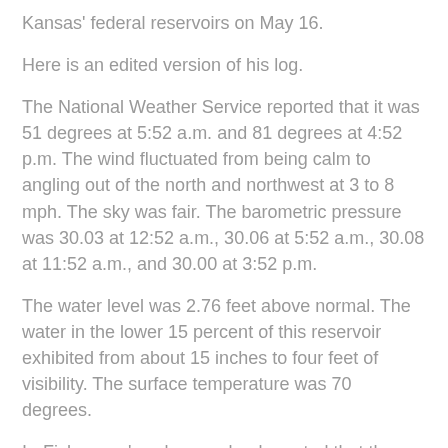Kansas' federal reservoirs on May 16.
Here is an edited version of his log.
The National Weather Service reported that it was 51 degrees at 5:52 a.m. and 81 degrees at 4:52 p.m. The wind fluctuated from being calm to angling out of the north and northwest at 3 to 8 mph. The sky was fair. The barometric pressure was 30.03 at 12:52 a.m., 30.06 at 5:52 a.m., 30.08 at 11:52 a.m., and 30.00 at 3:52 p.m.
The water level was 2.76 feet above normal. The water in the lower 15 percent of this reservoir exhibited from about 15 inches to four feet of visibility. The surface temperature was 70 degrees.
In-Fisherman's solunar calendar noted that the best fishing would take place from 11:08 p.m. to 1:08 a.m., 4:54 a.m. to 6:54 a.m., and 5.23 p.m. to 7:23 p.m.